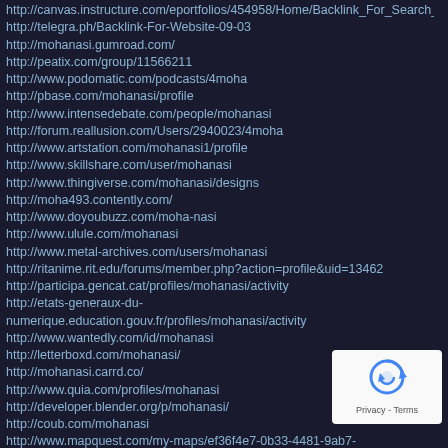http://canvas.instructure.com/eportfolios/454958/Home/Backlink_For_Search_En
http://telegra.ph/Backlink-For-Website-09-03
http://mohanasi.gumroad.com/
http://peatix.com/group/11566211
http://www.podomatic.com/podcasts/4moha
http://pbase.com/mohanasi/profile
http://www.intensedebate.com/people/mohanasi
http://forum.reallusion.com/Users/2940023/4moha
http://www.artstation.com/mohanasi1/profile
http://www.skillshare.com/user/mohanasi
http://www.thingiverse.com/mohanasi/designs
http://moha493.contently.com/
http://www.doyoubuzz.com/moha-nasi
http://www.ulule.com/mohanasi
http://www.metal-archives.com/users/mohanasi
http://ritanime.rit.edu/forums/member.php?action=profile&uid=13462
http://participa.gencat.cat/profiles/mohanasi/activity
http://etats-generaux-du-numerique.education.gouv.fr/profiles/mohanasi/activity
http://www.wantedly.com/id/mohanasi
http://letterboxd.com/mohanasi/
http://mohanasi.carrd.co/
http://www.quia.com/profiles/mohanasi
http://developer.blender.org/p/mohanasi/
http://coub.com/mohanasi
http://www.mapquest.com/my-maps/ef36f4e7-0b33-4481-9ab7-4896310d5ccd
http://cs.astronomy.com/members/mohanasi/default.aspx
http://amara.org/en/profiles/profile/m-k3B088ZDIVfd6p331LRqlNrqb5A7Ic_ESng/
http://ello.co/mohanasi
http://www.pixiv.net/en/users/72718219